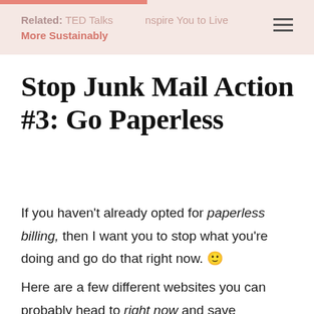Related: TED Talks Inspire You to Live More Sustainably
Stop Junk Mail Action #3: Go Paperless
If you haven't already opted for paperless billing, then I want you to stop what you're doing and go do that right now. 🙂
Here are a few different websites you can probably head to right now and save